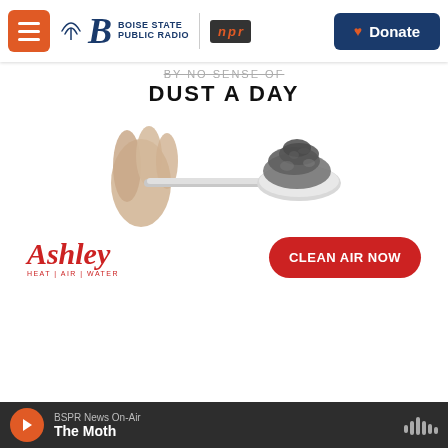Boise State Public Radio | NPR | Donate
[Figure (photo): Advertisement for Ashley Heat|Air|Water showing a spoon holding a pile of grey dust, with text 'DUST A DAY' and a 'CLEAN AIR NOW' button]
[Figure (photo): Smoke and haze outdoors, grey atmospheric photo]
BSPR News On-Air | The Moth